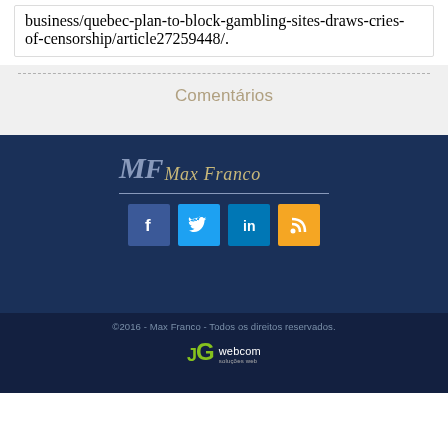business/quebec-plan-to-block-gambling-sites-draws-cries-of-censorship/article27259448/.
Comentários
[Figure (logo): MF Max Franco logo in italic serif font with decorative styling on dark navy background]
[Figure (infographic): Four social media icon buttons: Facebook (blue), Twitter (cyan), LinkedIn (blue), RSS (orange)]
©2016 - Max Franco - Todos os direitos reservados.
[Figure (logo): JG webcom logo with green JG letters and white webcom text]